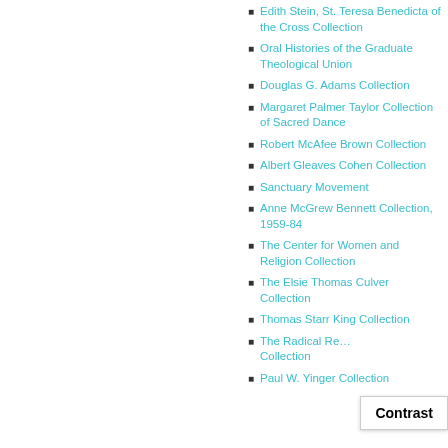Edith Stein, St. Teresa Benedicta of the Cross Collection
Oral Histories of the Graduate Theological Union
Douglas G. Adams Collection
Margaret Palmer Taylor Collection of Sacred Dance
Robert McAfee Brown Collection
Albert Gleaves Cohen Collection
Sanctuary Movement
Anne McGrew Bennett Collection, 1959-84
The Center for Women and Religion Collection
The Elsie Thomas Culver Collection
Thomas Starr King Collection
The Radical Re… Collection
Paul W. Yinger Collection